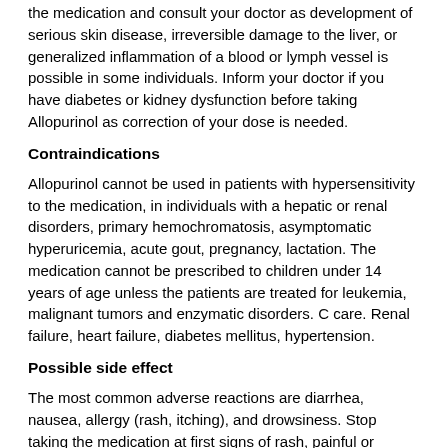the medication and consult your doctor as development of serious skin disease, irreversible damage to the liver, or generalized inflammation of a blood or lymph vessel is possible in some individuals. Inform your doctor if you have diabetes or kidney dysfunction before taking Allopurinol as correction of your dose is needed.
Contraindications
Allopurinol cannot be used in patients with hypersensitivity to the medication, in individuals with a hepatic or renal disorders, primary hemochromatosis, asymptomatic hyperuricemia, acute gout, pregnancy, lactation. The medication cannot be prescribed to children under 14 years of age unless the patients are treated for leukemia, malignant tumors and enzymatic disorders. C care. Renal failure, heart failure, diabetes mellitus, hypertension.
Possible side effect
The most common adverse reactions are diarrhea, nausea, allergy (rash, itching), and drowsiness. Stop taking the medication at first signs of rash, painful or bloody urination, eye irritation, or facial swelling, because these can be signs of a severe allergic reaction requiring immediate treatment. In rare cases Allopurinol can cause damage to nerve, kidney, and bone marrow as well as be a reason to a serious and even fatal allergic liver toxicity. In patients with liver toxicity appetite loss and itching may witness about it. The risk increases in patients with kidney impairment.
Drug interaction
The dose of oral mercaptopurine (Purinethol) and azathioprine (Imuran)